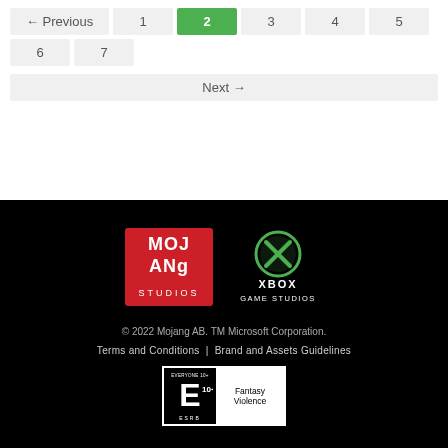← Previous | 1 | 2 (active) | 3 | 4 | 5 | 6 | 7
Next →
[Figure (logo): Mojang Studios logo - red square with 'MOJ', 'ANg', 'STUDIOS' text in white]
[Figure (logo): Xbox Game Studios logo - Xbox sphere icon above 'XBOX GAME STUDIOS' text in white]
© 2022 Mojang AB. TM Microsoft Corporation.
Terms and Conditions | Brand and Assets Guidelines
[Figure (other): ESRB rating: Everyone 10+ with Fantasy Violence descriptor]